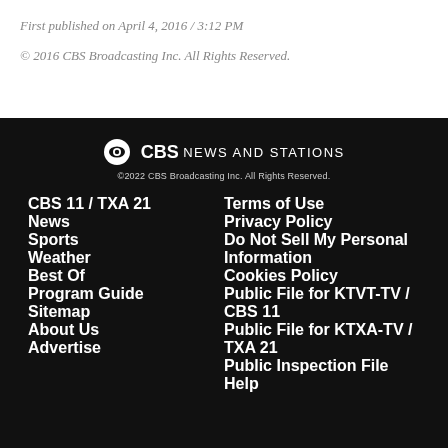First published on April 4, 2016 / 3:12 PM
© 2016 CBS Broadcasting Inc. All Rights Reserved.
[Figure (logo): CBS News and Stations logo with eye icon]
©2022 CBS Broadcasting Inc. All Rights Reserved.
CBS 11 / TXA 21
News
Sports
Weather
Best Of
Program Guide
Sitemap
About Us
Advertise
Terms of Use
Privacy Policy
Do Not Sell My Personal Information
Cookies Policy
Public File for KTVT-TV / CBS 11
Public File for KTXA-TV / TXA 21
Public Inspection File Help